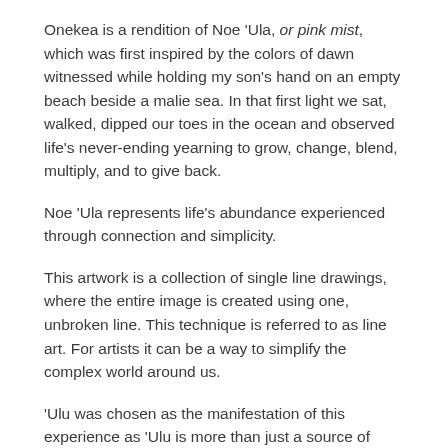Onekea is a rendition of Noe 'Ula, or pink mist, which was first inspired by the colors of dawn witnessed while holding my son's hand on an empty beach beside a malie sea. In that first light we sat, walked, dipped our toes in the ocean and observed life's never-ending yearning to grow, change, blend, multiply, and to give back.
Noe 'Ula represents life's abundance experienced through connection and simplicity.
This artwork is a collection of single line drawings, where the entire image is created using one, unbroken line. This technique is referred to as line art. For artists it can be a way to simplify the complex world around us.
'Ulu was chosen as the manifestation of this experience as 'Ulu is more than just a source of food. Translated it means "to grow, build, and/or inspire." It is also the embodiment of ancient ancestors, deities and gods whom, like each human and each being of each island, evolved from the sea.